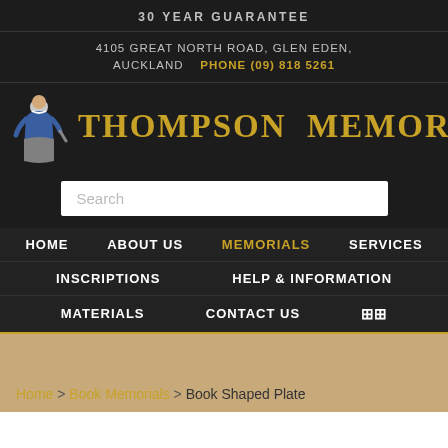30 YEAR GUARANTEE
4105 GREAT NORTH ROAD, GLEN EDEN, AUCKLAND   PHONE (09) 818 5261
THOMPSON MEMORIALS
Search
HOME
ABOUT US
MEMORIALS
SERVICES
INSCRIPTIONS
HELP & INFORMATION
MATERIALS
CONTACT US
Home > Book Memorials > Book Shaped Plate